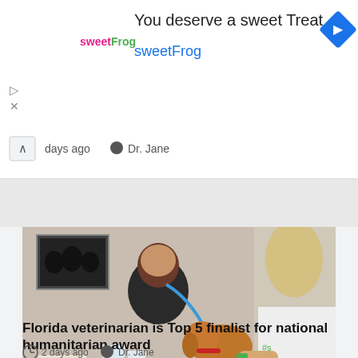[Figure (infographic): sweetFrog advertisement banner: logo on left, text 'You deserve a sweet Treat' and 'sweetFrog' in blue, blue diamond navigation icon on right]
days ago  Dr. Jane
[Figure (photo): Veterinarian in black scrubs using a blue stethoscope to examine a golden/brown puppy held by a woman in a white t-shirt, inside a veterinary clinic. A framed black and white photo hangs on the wall behind.]
TOP VETERINARIAN NEWS
Florida veterinarian is Top 5 finalist for national humanitarian award
2 days ago  Dr. Jane